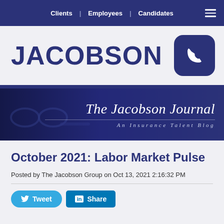Clients | Employees | Candidates
[Figure (logo): JACOBSON company logo in dark navy blue, large bold sans-serif text]
[Figure (illustration): The Jacobson Journal - An Insurance Talent Blog banner with glasses and pen on dark blue background]
October 2021: Labor Market Pulse
Posted by The Jacobson Group on Oct 13, 2021 2:16:32 PM